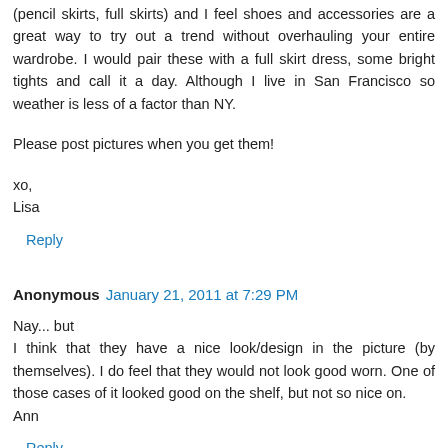(pencil skirts, full skirts) and I feel shoes and accessories are a great way to try out a trend without overhauling your entire wardrobe. I would pair these with a full skirt dress, some bright tights and call it a day. Although I live in San Francisco so weather is less of a factor than NY.
Please post pictures when you get them!
xo,
Lisa
Reply
Anonymous  January 21, 2011 at 7:29 PM
Nay... but
I think that they have a nice look/design in the picture (by themselves). I do feel that they would not look good worn. One of those cases of it looked good on the shelf, but not so nice on.
Ann
Reply